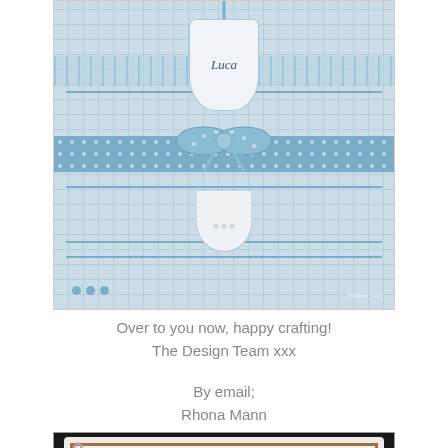[Figure (photo): A handmade baby card featuring blue striped and checked patterned paper, a gift tag labeled 'Luca' with a blue polka dot ribbon bow, pearl embellishments, and a watermark reading 'Pauline Carr' in the bottom right corner.]
Over to you now, happy crafting!
The Design Team xxx
By email;
Rhona Mann
[Figure (photo): A handmade card with a dark/black scalloped border, copper/brown frame, white mat, and a stamped image of children on a clothesline with small flowers and butterfly embellishments.]